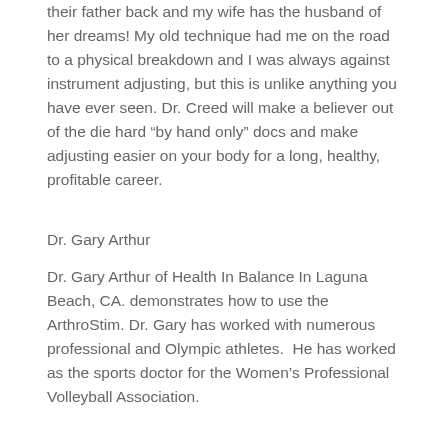their father back and my wife has the husband of her dreams! My old technique had me on the road to a physical breakdown and I was always against instrument adjusting, but this is unlike anything you have ever seen. Dr. Creed will make a believer out of the die hard “by hand only” docs and make adjusting easier on your body for a long, healthy, profitable career.
Dr. Gary Arthur
Dr. Gary Arthur of Health In Balance In Laguna Beach, CA. demonstrates how to use the ArthroStim. Dr. Gary has worked with numerous professional and Olympic athletes.  He has worked as the sports doctor for the Women’s Professional Volleyball Association.